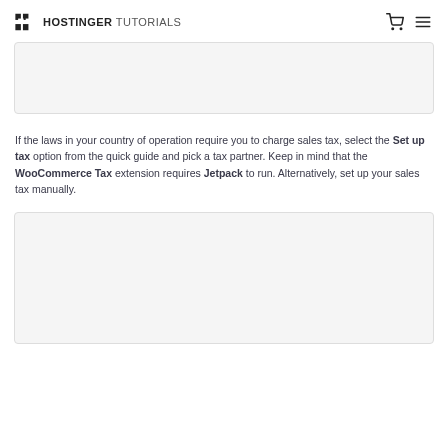HOSTINGER TUTORIALS
[Figure (screenshot): Screenshot placeholder box at top of page]
If the laws in your country of operation require you to charge sales tax, select the Set up tax option from the quick guide and pick a tax partner. Keep in mind that the WooCommerce Tax extension requires Jetpack to run. Alternatively, set up your sales tax manually.
[Figure (screenshot): Screenshot placeholder box at bottom of page]